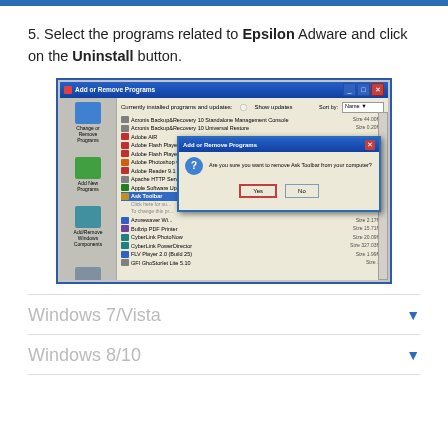5. Select the programs related to Epsilon Adware and click on the Uninstall button.
[Figure (screenshot): Windows XP Add or Remove Programs dialog showing a list of installed programs with a confirmation dialog asking 'Are you sure you want to remove Ask Toolbar from your computer?' with Yes and No buttons, where the Yes button is highlighted with a red border.]
Windows 7/Vista
Windows 8/10